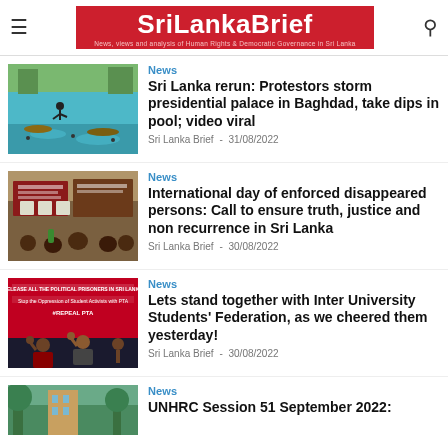SriLankaBrief — News, views and analysis of Human Rights & Democratic Governance in Sri Lanka
[Figure (photo): People swimming in a pool at what appears to be a presidential palace]
News
Sri Lanka rerun: Protestors storm presidential palace in Baghdad, take dips in pool; video viral
Sri Lanka Brief - 31/08/2022
[Figure (photo): Protest crowd with banners about enforced disappeared persons]
News
International day of enforced disappeared persons: Call to ensure truth, justice and non recurrence in Sri Lanka
Sri Lanka Brief - 30/08/2022
[Figure (photo): Protest with banners reading RELEASE ALL THE POLITICAL PRISONERS IN SRI LANKA, REPEAL PTA]
News
Lets stand together with Inter University Students' Federation, as we cheered them yesterday!
Sri Lanka Brief - 30/08/2022
[Figure (photo): Outdoor scene with building and trees — partial view]
News
UNHRC Session 51 September 2022: